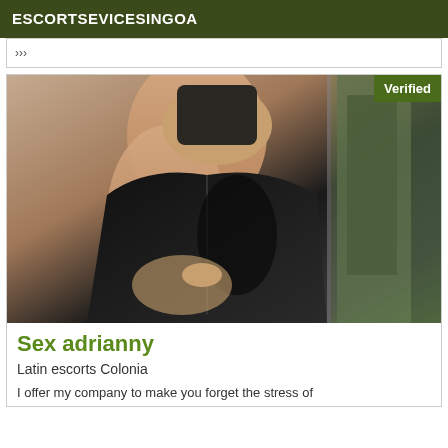ESCORTSEVICESINGOA
[Figure (photo): Woman in black lace outfit taking a mirror selfie, face obscured by phone. 'Verified' badge in top-right corner.]
Sex adrianny
Latin escorts Colonia
I offer my company to make you forget the stress of